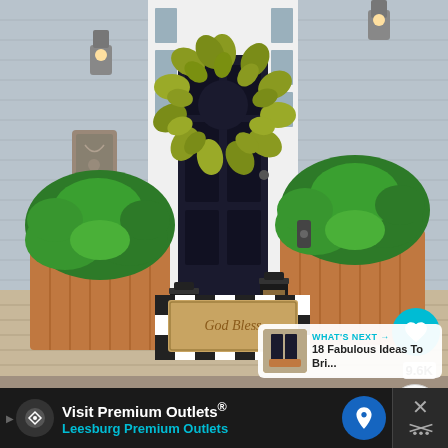[Figure (photo): A farmhouse-style front porch with a black door decorated with a large yellow magnolia leaf wreath. Two wooden planter boxes with lush green ferns flank the door. Black lanterns sit on the porch floor. A black-and-white buffalo check rug with a tan 'God Bless' doormat layered on top is at the threshold. White siding, side panel windows, and outdoor wall sconces are visible.]
9.6K
WHAT'S NEXT → 18 Fabulous Ideas To Bri...
Visit Premium Outlets® Leesburg Premium Outlets